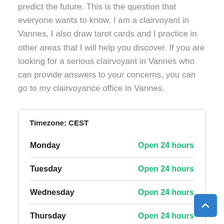predict the future. This is the question that everyone wants to know. I am a clairvoyant in Vannes, I also draw tarot cards and I practice in other areas that I will help you discover. If you are looking for a serious clairvoyant in Vannes who can provide answers to your concerns, you can go to my clairvoyance office in Vannes.
| Day | Hours |
| --- | --- |
| Timezone: CEST |  |
| Monday | Open 24 hours |
| Tuesday | Open 24 hours |
| Wednesday | Open 24 hours |
| Thursday | Open 24 hours |
| Friday | Open 24 hours |